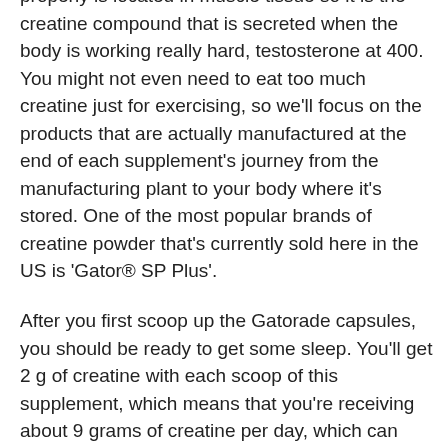properly is located in muscle tissue so it is the creatine compound that is secreted when the body is working really hard, testosterone at 400. You might not even need to eat too much creatine just for exercising, so we'll focus on the products that are actually manufactured at the end of each supplement's journey from the manufacturing plant to your body where it's stored. One of the most popular brands of creatine powder that's currently sold here in the US is 'Gator® SP Plus'.
After you first scoop up the Gatorade capsules, you should be ready to get some sleep. You'll get 2 g of creatine with each scoop of this supplement, which means that you're receiving about 9 grams of creatine per day, which can actually be considered an adequate daily intake given its recommended daily intake, all natural